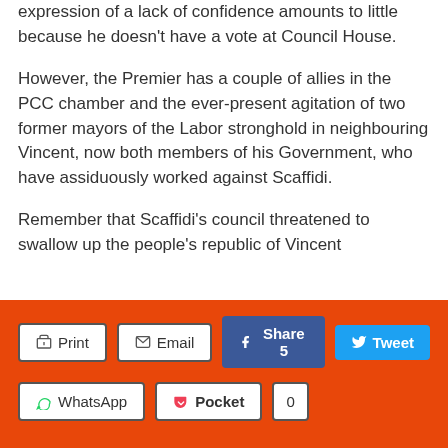expression of a lack of confidence amounts to little because he doesn't have a vote at Council House.
However, the Premier has a couple of allies in the PCC chamber and the ever-present agitation of two former mayors of the Labor stronghold in neighbouring Vincent, now both members of his Government, who have assiduously worked against Scaffidi.
Remember that Scaffidi's council threatened to swallow up the people's republic of Vincent...
Print | Email | Share 5 | Tweet | WhatsApp | Pocket 0